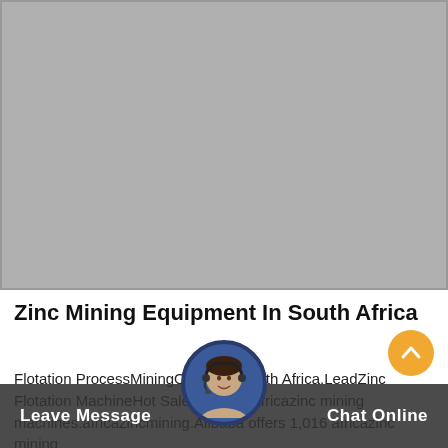[Figure (photo): Large gray placeholder image area at the top of the page]
Zinc Mining Equipment In South Africa
Flotation ProcessMiningOfZinc In South Africa.LeadZinc Flotation MachineHot Sale In Africa.africazinc mining machines.africazincmining.Alibaba offers 1,016 africazinc mining
[Figure (photo): Customer service representative avatar circle at the bottom center]
Leave Message
Chat Online